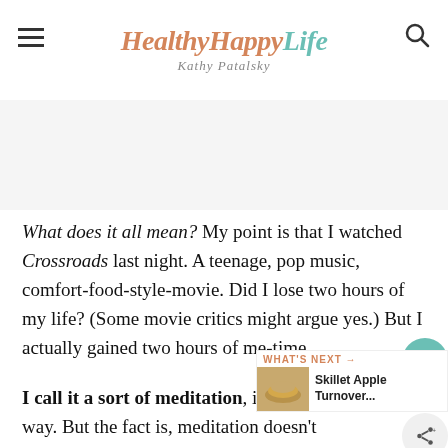Healthy Happy Life — Kathy Patalsky
[Figure (other): Gray advertisement placeholder rectangle]
What does it all mean? My point is that I watched Crossroads last night. A teenage, pop music, comfort-food-style-movie. Did I lose two hours of my life? (Some movie critics might argue yes.) But I actually gained two hours of me-time.
I call it a sort of meditation, in a slight fetched way. But the fact is, meditation doesn't